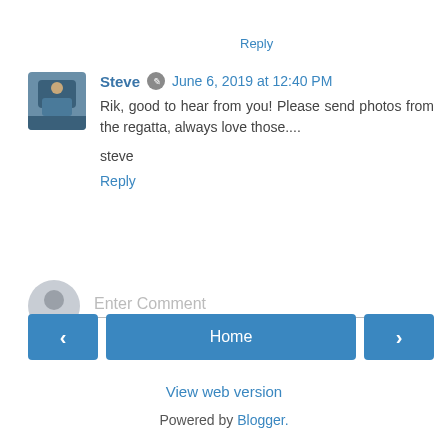Reply
Steve  June 6, 2019 at 12:40 PM
Rik, good to hear from you! Please send photos from the regatta, always love those....
steve
Reply
Enter Comment
Home
View web version
Powered by Blogger.